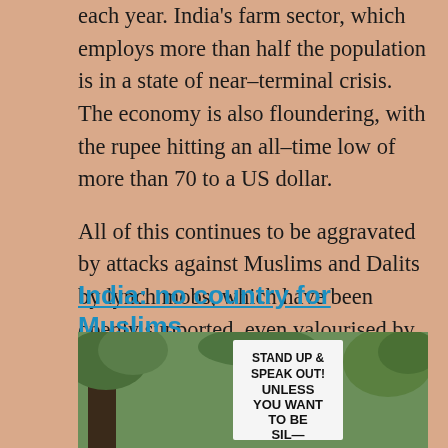each year. India's farm sector, which employs more than half the population is in a state of near–terminal crisis. The economy is also floundering, with the rupee hitting an all–time low of more than 70 to a US dollar.
All of this continues to be aggravated by attacks against Muslims and Dalits by lynch mobs, which have been openly supported, even valourised by members of the ruling party.
India: no country for Muslims
[Figure (photo): Photo of a person holding a protest sign reading 'STAND UP & SPEAK OUT! UNLESS YOU WANT TO BE SIL...' against a background of trees]